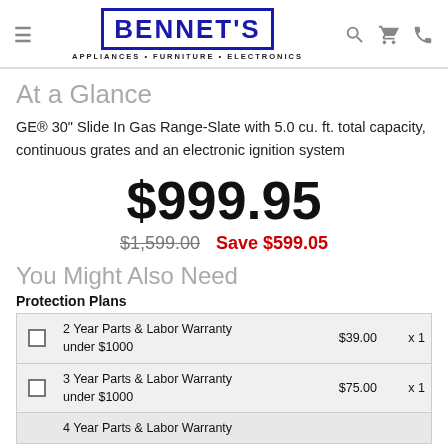BENNET'S APPLIANCES • FURNITURE • ELECTRONICS
At a Glance
GE® 30" Slide In Gas Range-Slate with 5.0 cu. ft. total capacity, continuous grates and an electronic ignition system
$999.95
$1,599.00  Save $599.05
You Might Also Need
Protection Plans
|  | Description | Price | Qty |
| --- | --- | --- | --- |
| ☐ | 2 Year Parts & Labor Warranty under $1000 | $39.00 | x 1 |
| ☐ | 3 Year Parts & Labor Warranty under $1000 | $75.00 | x 1 |
| ☐ | 4 Year Parts & Labor Warranty |  |  |